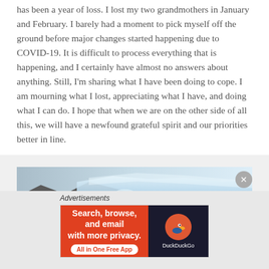has been a year of loss. I lost my two grandmothers in January and February. I barely had a moment to pick myself off the ground before major changes started happening due to COVID-19. It is difficult to process everything that is happening, and I certainly have almost no answers about anything. Still, I'm sharing what I have been doing to cope. I am mourning what I lost, appreciating what I have, and doing what I can do. I hope that when we are on the other side of all this, we will have a newfound grateful spirit and our priorities better in line.
[Figure (photo): Photograph of a glacier with rocky mountain terrain in the foreground and ice/snow in the background under a blue sky.]
Advertisements
[Figure (other): DuckDuckGo advertisement banner: 'Search, browse, and email with more privacy. All in One Free App' with DuckDuckGo logo on dark background.]